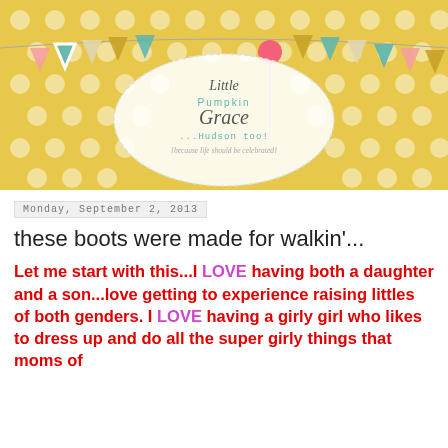[Figure (illustration): Blog header banner with yellow polka-dot background, decorative bunting flags, a circular doily-style label in the center reading 'Little Pumpkin Grace ...Hudson too! {because life should be celebrated}']
Monday, September 2, 2013
these boots were made for walkin'...
Let me start with this...I LOVE having both a daughter and a son...love getting to experience raising littles of both genders. I LOVE having a girly girl who likes to dress up and do all the super girly things that moms of